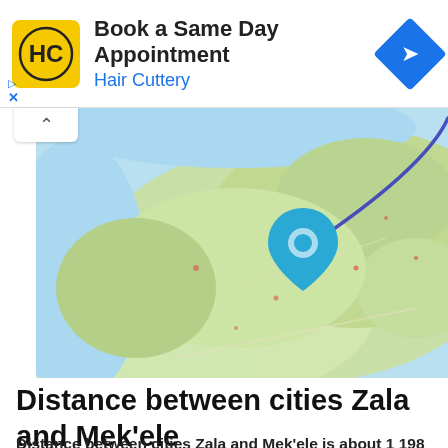[Figure (other): Hair Cuttery advertisement banner with logo, 'Book a Same Day Appointment' text, and navigation icon]
[Figure (map): Map showing route between Zala and Mek'ele in Ethiopia, with a blue location pin and curved blue route line drawn on a terrain map]
Distance between cities Zala and Mek'ele
Distance between cities Zala and Mek'ele is about 1 198 km which is 744 ml when driving by road through Mek'ele-Weldiya Road, 1, 1, 2, Fikre Mariam Aba Techan Street, 1, A road to Kore, Fikre Mariam Aba Techan Street,